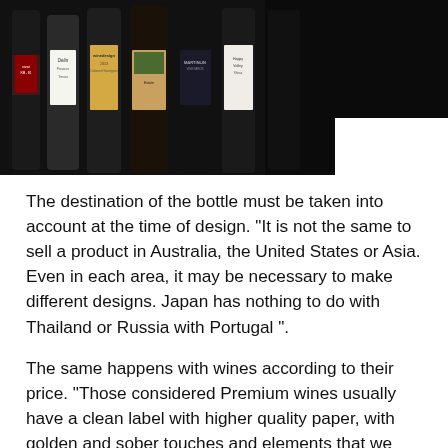[Figure (photo): A row of wine bottles with various labels displayed against a dark background]
The destination of the bottle must be taken into account at the time of design. “It is not the same to sell a product in Australia, the United States or Asia. Even in each area, it may be necessary to make different designs. Japan has nothing to do with Thailand or Russia with Portugal”.
The same happens with wines according to their price. “Those considered Premium wines usually have a clean label with higher quality paper, with golden and sober touches and elements that we could consider intellectual. The other wines tend to have a more ag… light packaging but, after all, everything corresponds to the marketing strategies of each winery”.